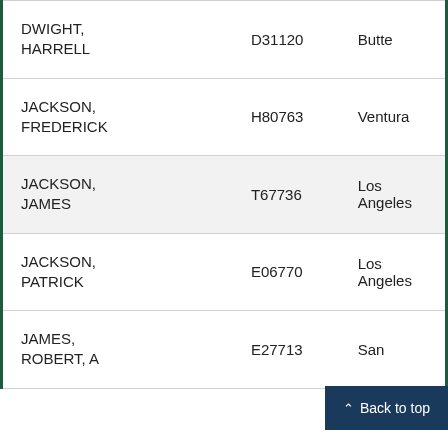| DWIGHT, HARRELL | D31120 | Butte |
| JACKSON, FREDERICK | H80763 | Ventura |
| JACKSON, JAMES | T67736 | Los Angeles |
| JACKSON, PATRICK | E06770 | Los Angeles |
| JAMES, ROBERT, A | E27713 | San... |